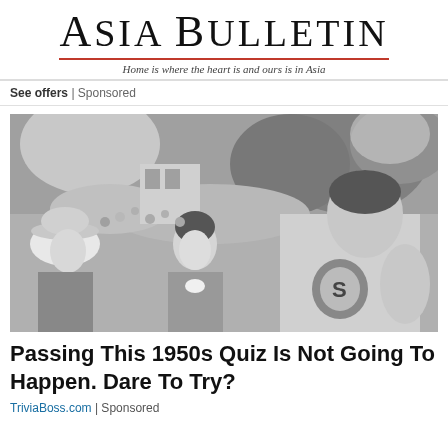Asia Bulletin — Home is where the heart is and ours is in Asia
See offers | Sponsored
[Figure (photo): Black and white photograph of actors in 1950s style. A man wearing a Superman costume with the S shield on his chest stands prominently on the right. A woman in a suit with a white bow stands in the center, and a man wearing a cowboy hat is partially visible on the left. Background shows a crowd and trees.]
Passing This 1950s Quiz Is Not Going To Happen. Dare To Try?
TriviaBoss.com | Sponsored